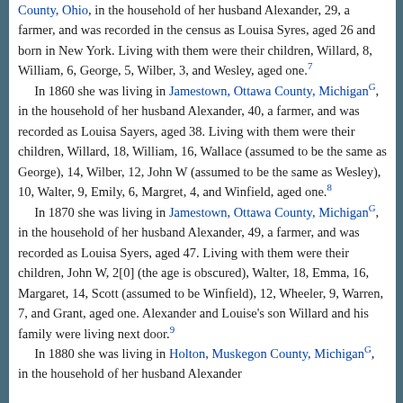County, Ohio, in the household of her husband Alexander, 29, a farmer, and was recorded in the census as Louisa Syres, aged 26 and born in New York. Living with them were their children, Willard, 8, William, 6, George, 5, Wilber, 3, and Wesley, aged one.⁷
    In 1860 she was living in Jamestown, Ottawa County, MichiganG, in the household of her husband Alexander, 40, a farmer, and was recorded as Louisa Sayers, aged 38. Living with them were their children, Willard, 18, William, 16, Wallace (assumed to be the same as George), 14, Wilber, 12, John W (assumed to be the same as Wesley), 10, Walter, 9, Emily, 6, Margret, 4, and Winfield, aged one.⁸
    In 1870 she was living in Jamestown, Ottawa County, MichiganG, in the household of her husband Alexander, 49, a farmer, and was recorded as Louisa Syers, aged 47. Living with them were their children, John W, 2[0] (the age is obscured), Walter, 18, Emma, 16, Margaret, 14, Scott (assumed to be Winfield), 12, Wheeler, 9, Warren, 7, and Grant, aged one. Alexander and Louise's son Willard and his family were living next door.⁹
    In 1880 she was living in Holton, Muskegon County, MichiganG, in the household of her husband Alexander